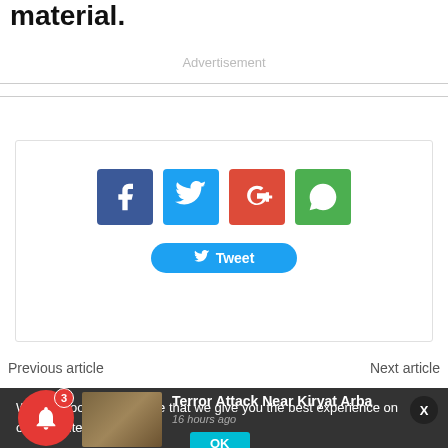material.
Advertisement
[Figure (screenshot): Social share buttons: Facebook, Twitter, Google+, WhatsApp icons and a Tweet button]
Previous article
Next article
We use cookies to ensure that we give you the best experience on our website. If yo
Terror Attack Near Kiryat Arba
16 hours ago